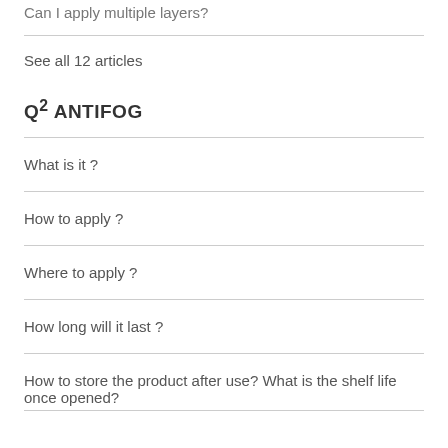Can I apply multiple layers?
See all 12 articles
Q² ANTIFOG
What is it ?
How to apply ?
Where to apply ?
How long will it last ?
How to store the product after use? What is the shelf life once opened?